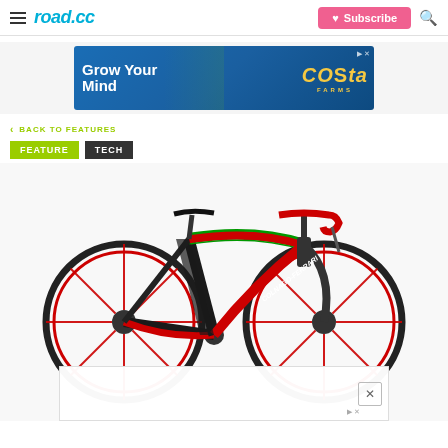road.cc — Subscribe
[Figure (photo): Advertisement banner: Grow Your Mind — Costa Farms]
< BACK TO FEATURES
FEATURE   TECH
[Figure (photo): Colnago-Ferrari road bicycle with red and black carbon frame, red spoked wheels, and Italian flag stripe detail]